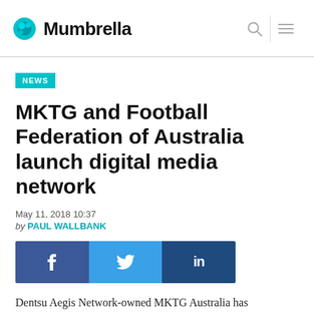Mumbrella
NEWS
MKTG and Football Federation of Australia launch digital media network
May 11, 2018 10:37
by PAUL WALLBANK
[Figure (other): Social share buttons: Facebook (f), Twitter (bird icon), LinkedIn (in)]
Dentsu Aegis Network-owned MKTG Australia has